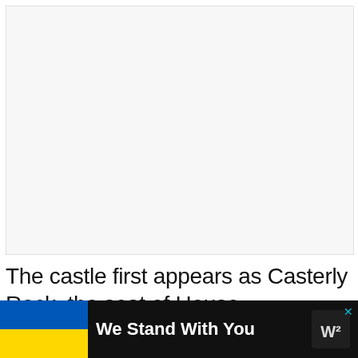[Figure (photo): Large image placeholder area, light gray background, appears to be a photo related to a castle or Game of Thrones article]
The castle first appears as Casterly Rock, the seat of House
[Figure (infographic): Advertisement banner: Ukrainian flag (blue and yellow), bold white text 'We Stand With You', close button X in cyan, logo icon on right side on black background]